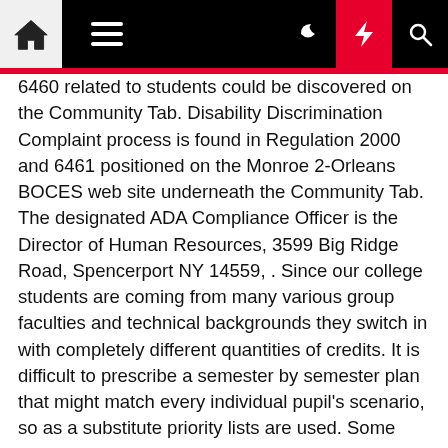Navigation bar with home, menu, dark mode, lightning, and search icons
6460 related to students could be discovered on the Community Tab. Disability Discrimination Complaint process is found in Regulation 2000 and 6461 positioned on the Monroe 2-Orleans BOCES web site underneath the Community Tab. The designated ADA Compliance Officer is the Director of Human Resources, 3599 Big Ridge Road, Spencerport NY 14559, . Since our college students are coming from many various group faculties and technical backgrounds they switch in with completely different quantities of credits. It is difficult to prescribe a semester by semester plan that might match every individual pupil's scenario, so as a substitute priority lists are used. Some community methods administrators take persevering with training courses all through their careers to remain current with the frequently altering and evolving